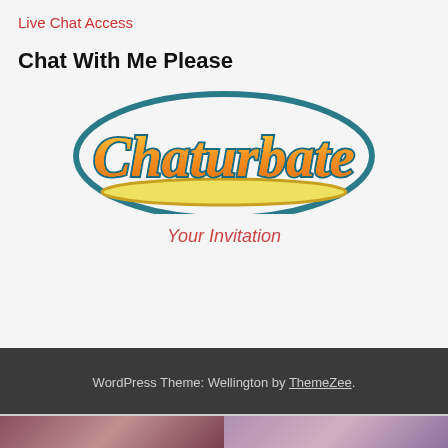Live Chat Access
Chat With Me Please
[Figure (logo): Chaturbate logo — orange and yellow bubbly script lettering with teal outline, underlined with a yellow swoosh]
Your Invitation
WordPress Theme: Wellington by ThemeZee.
[Figure (photo): Two thumbnail photos of women at the bottom of the page]